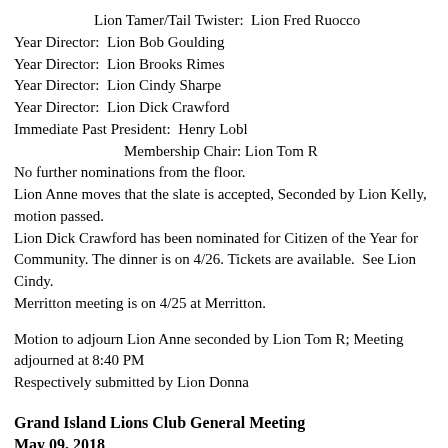Lion Tamer/Tail Twister:  Lion Fred Ruocco
Year Director:  Lion Bob Goulding
Year Director:  Lion Brooks Rimes
Year Director:  Lion Cindy Sharpe
Year Director:  Lion Dick Crawford
Immediate Past President:  Henry Lobl
Membership Chair: Lion Tom R
No further nominations from the floor.
Lion Anne moves that the slate is accepted, Seconded by Lion Kelly, motion passed.
Lion Dick Crawford has been nominated for Citizen of the Year for Community. The dinner is on 4/26. Tickets are available.  See Lion Cindy.
Merritton meeting is on 4/25 at Merritton.
Motion to adjourn Lion Anne seconded by Lion Tom R; Meeting adjourned at 8:40 PM
Respectively submitted by Lion Donna
Grand Island Lions Club General Meeting
May 09, 2018